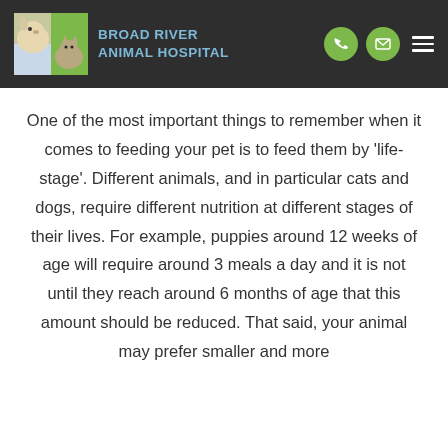BROAD RIVER ANIMAL HOSPITAL
One of the most important things to remember when it comes to feeding your pet is to feed them by 'life-stage'. Different animals, and in particular cats and dogs, require different nutrition at different stages of their lives. For example, puppies around 12 weeks of age will require around 3 meals a day and it is not until they reach around 6 months of age that this amount should be reduced. That said, your animal may prefer smaller and more